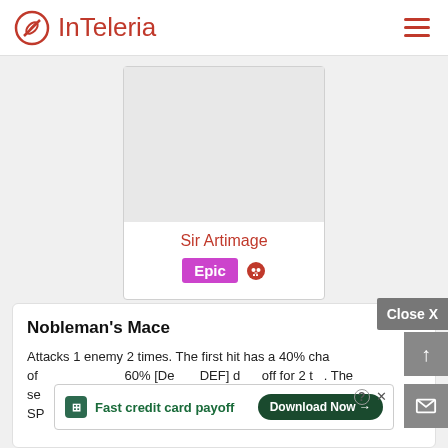InTeleria
[Figure (illustration): Character card with empty image area, name 'Sir Artimage', Epic badge, skull icon]
Sir Artimage
Epic
Nobleman's Mace
Attacks 1 enemy 2 times. The first hit has a 40% chance of placing a 60% [Decrease DEF] debuff for 2 turns. The second hit places a 50% [Increase ATK] buff on this Champion for 2 turns. SP
Fast credit card payoff
Download Now →
Close X